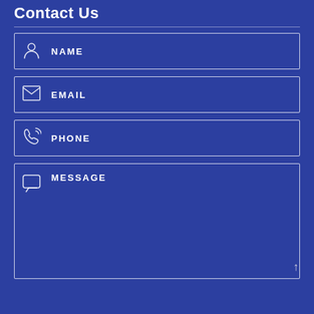Contact Us
[Figure (other): Contact form with NAME, EMAIL, PHONE, and MESSAGE input fields on a blue background, each with an icon]
NAME
EMAIL
PHONE
MESSAGE